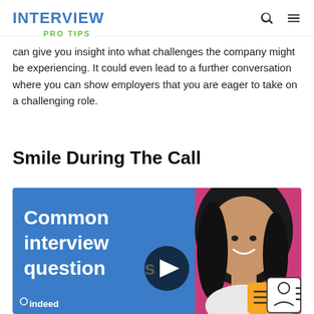INTERVIEW PRO TIPS
can give you insight into what challenges the company might be experiencing. It could even lead to a further conversation where you can show employers that you are eager to take on a challenging role.
Smile During The Call
[Figure (screenshot): Video thumbnail showing a smiling woman with text 'Common interview questions' on a blue and pink background, with a play button overlay and Indeed logo at the bottom left, and an interview/speech icon at the bottom right.]